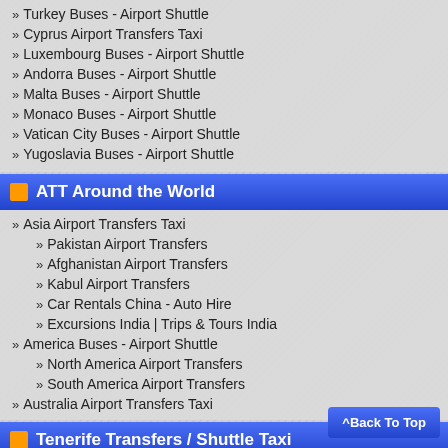Turkey Buses - Airport Shuttle
Cyprus Airport Transfers Taxi
Luxembourg Buses - Airport Shuttle
Andorra Buses - Airport Shuttle
Malta Buses - Airport Shuttle
Monaco Buses - Airport Shuttle
Vatican City Buses - Airport Shuttle
Yugoslavia Buses - Airport Shuttle
ATT Around the World
Asia Airport Transfers Taxi
Pakistan Airport Transfers
Afghanistan Airport Transfers
Kabul Airport Transfers
Car Rentals China - Auto Hire
Excursions India | Trips & Tours India
America Buses - Airport Shuttle
North America Airport Transfers
South America Airport Transfers
Australia Airport Transfers Taxi
Tenerife Transfers / Shuttle Taxi
Tenerife Airport Transfers
Tenerife Taxi Services
Tenerife Tours | Excursions
Tenerife Airport Shuttle - Buses Tenerife
^Back To Top